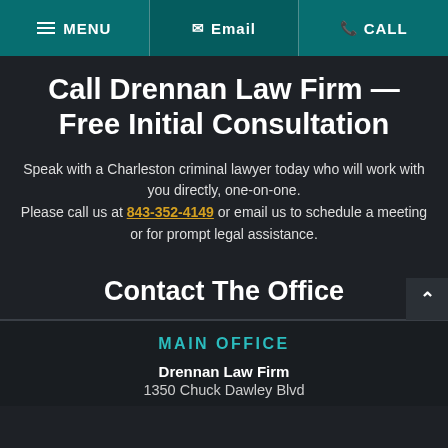MENU | Email | CALL
Call Drennan Law Firm — Free Initial Consultation
Speak with a Charleston criminal lawyer today who will work with you directly, one-on-one. Please call us at 843-352-4149 or email us to schedule a meeting or for prompt legal assistance.
Contact The Office
MAIN OFFICE
Drennan Law Firm
1350 Chuck Dawley Blvd